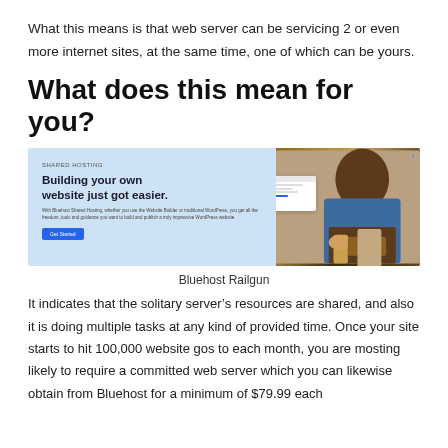What this means is that web server can be servicing 2 or even more internet sites, at the same time, one of which can be yours.
What does this mean for you?
[Figure (screenshot): Bluehost shared hosting promotional banner showing 'Building your own website just got easier.' text on left with a blue button, and a person cooking/plating food on the right side. A browser window overlay is also visible.]
Bluehost Railgun
It indicates that the solitary server’s resources are shared, and also it is doing multiple tasks at any kind of provided time. Once your site starts to hit 100,000 website gos to each month, you are mosting likely to require a committed web server which you can likewise obtain from Bluehost for a minimum of $79.99 each